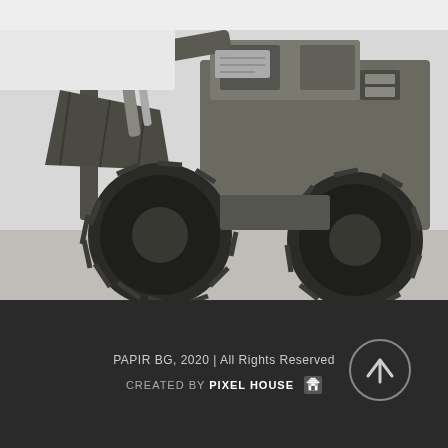[Figure (photo): Black and white photograph of a large industrial wheel loader / construction vehicle, showing the front bucket, large tires, and cab area. Taken in an outdoor setting.]
PAPIR BG, 2020 | All Rights Reserved
CREATED BY PIXEL HOUSE